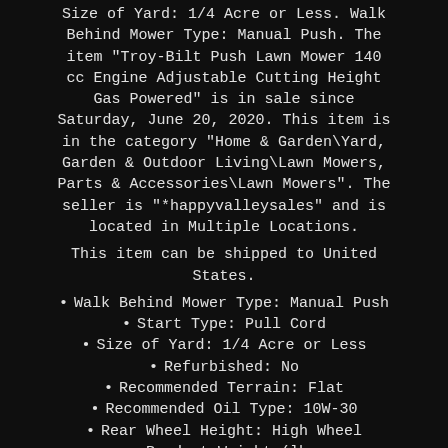Size of Yard: 1/4 Acre or Less. Walk Behind Mower Type: Manual Push. The item "Troy-Bilt Push Lawn Mower 140 cc Engine Adjustable Cutting Height Gas Powered" is in sale since Saturday, June 20, 2020. This item is in the category "Home & Garden\Yard, Garden & Outdoor Living\Lawn Mowers, Parts & Accessories\Lawn Mowers". The seller is "*happyvalleysales" and is located in Multiple Locations.
This item can be shipped to United States.
Walk Behind Mower Type: Manual Push
Start Type: Pull Cord
Size of Yard: 1/4 Acre or Less
Refurbished: No
Recommended Terrain: Flat
Recommended Oil Type: 10W-30
Rear Wheel Height: High Wheel
Product Weight (lb.

): 66 lb
Power Type: Gas